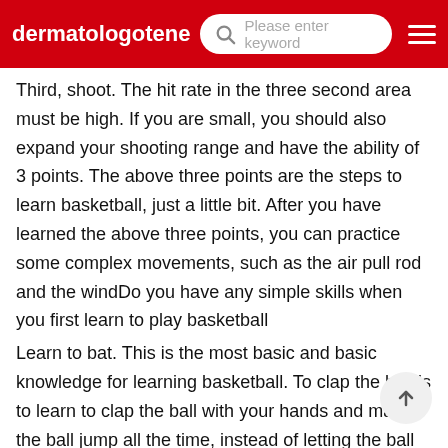dermatologotene | Please enter keyword
Third, shoot. The hit rate in the three second area must be high. If you are small, you should also expand your shooting range and have the ability of 3 points. The above three points are the steps to learn basketball, just a little bit. After you have learned the above three points, you can practice some complex movements, such as the air pull rod and the windDo you have any simple skills when you first learn to play basketball
Learn to bat. This is the most basic and basic knowledge for learning basketball. To clap the ball is to learn to clap the ball with your hands and make the ball jump all the time, instead of letting the ball run away with a clap. At this time, the best way to practice is to fix yourself in a circle to shoot the ball. Don't go beyond the rangeWhat do you mean by a fake basketball shot
The fake shot pass is also a kind of fake action, that is, the